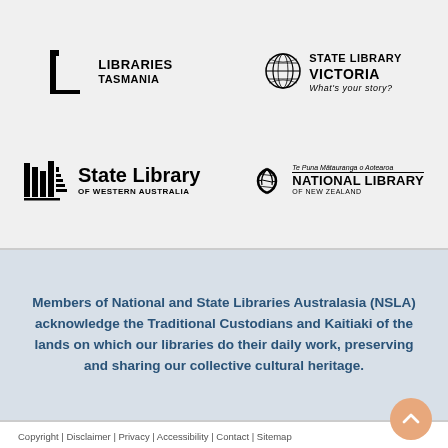[Figure (logo): Libraries Tasmania logo — square bracket icon with LIBRARIES / TASMANIA text]
[Figure (logo): State Library Victoria logo — circular globe icon with STATE LIBRARY / VICTORIA / What's your story?]
[Figure (logo): State Library of Western Australia logo — stacked lines icon with State Library / OF WESTERN AUSTRALIA]
[Figure (logo): National Library of New Zealand logo — open book icon with Te Puna Mātauranga o Aotearoa / NATIONAL LIBRARY / OF NEW ZEALAND]
Members of National and State Libraries Australasia (NSLA) acknowledge the Traditional Custodians and Kaitiaki of the lands on which our libraries do their daily work, preserving and sharing our collective cultural heritage.
Copyright | Disclaimer | Privacy | Accessibility | Contact | Sitemap